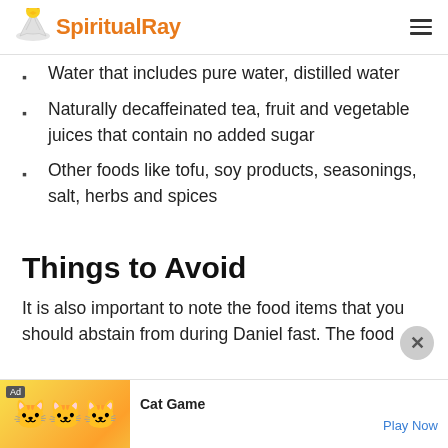SpiritualRay
Water that includes pure water, distilled water
Naturally decaffeinated tea, fruit and vegetable juices that contain no added sugar
Other foods like tofu, soy products, seasonings, salt, herbs and spices
Things to Avoid
It is also important to note the food items that you should abstain from during Daniel fast. The food
[Figure (screenshot): Advertisement banner for Cat Game mobile app at bottom of page]